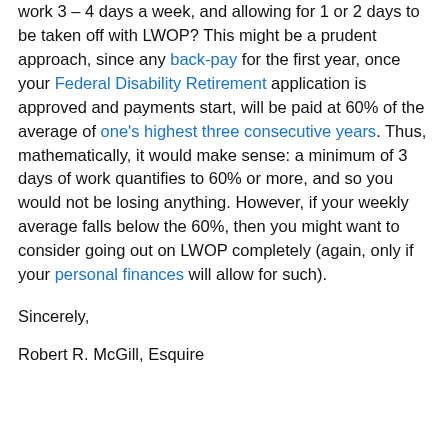work 3 – 4 days a week, and allowing for 1 or 2 days to be taken off with LWOP?  This might be a prudent approach, since any back-pay for the first year, once your Federal Disability Retirement application is approved and payments start, will be paid at 60% of the average of one's highest three consecutive years.  Thus, mathematically, it would make sense:  a minimum of 3 days of work quantifies to 60% or more, and so you would not be losing anything.  However, if your weekly average falls below the 60%, then you might want to consider going out on LWOP completely (again, only if your personal finances will allow for such).
Sincerely,
Robert R. McGill, Esquire